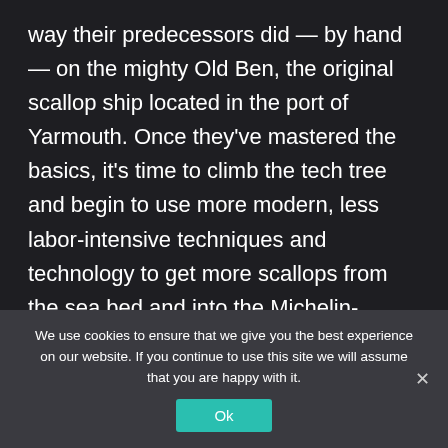way their predecessors did — by hand — on the mighty Old Ben, the original scallop ship located in the port of Yarmouth. Once they've mastered the basics, it's time to climb the tech tree and begin to use more modern, less labor-intensive techniques and technology to get more scallops from the sea bed and into the Michelin-starred kitchens worldwide.

The Scallops DLC stays true to the hardcore simulation aspects of the base game, which means multiple
We use cookies to ensure that we give you the best experience on our website. If you continue to use this site we will assume that you are happy with it.